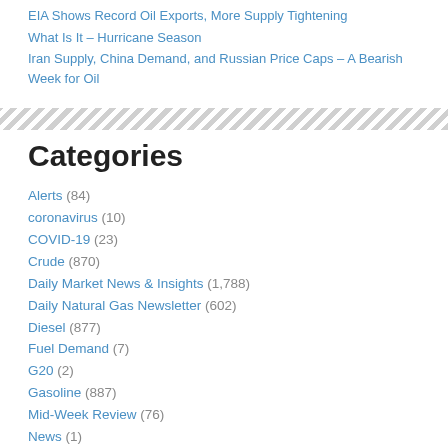EIA Shows Record Oil Exports, More Supply Tightening
What Is It – Hurricane Season
Iran Supply, China Demand, and Russian Price Caps – A Bearish Week for Oil
Categories
Alerts (84)
coronavirus (10)
COVID-19 (23)
Crude (870)
Daily Market News & Insights (1,788)
Daily Natural Gas Newsletter (602)
Diesel (877)
Fuel Demand (7)
G20 (2)
Gasoline (887)
Mid-Week Review (76)
News (1)
Pandemic (7)